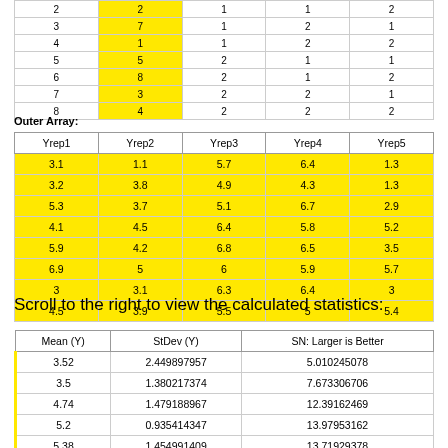|  |  | 1 | 2 | 3 |
| --- | --- | --- | --- | --- |
| 2 | 2 | 1 | 1 | 2 |
| 3 | 7 | 1 | 2 | 1 |
| 4 | 1 | 1 | 2 | 2 |
| 5 | 5 | 2 | 1 | 1 |
| 6 | 8 | 2 | 1 | 2 |
| 7 | 3 | 2 | 2 | 1 |
| 8 | 4 | 2 | 2 | 2 |
Outer Array:
| Yrep1 | Yrep2 | Yrep3 | Yrep4 | Yrep5 |
| --- | --- | --- | --- | --- |
| 3.1 | 1.1 | 5.7 | 6.4 | 1.3 |
| 3.2 | 3.8 | 4.9 | 4.3 | 1.3 |
| 5.3 | 3.7 | 5.1 | 6.7 | 2.9 |
| 4.1 | 4.5 | 6.4 | 5.8 | 5.2 |
| 5.9 | 4.2 | 6.8 | 6.5 | 3.5 |
| 6.9 | 5 | 6 | 5.9 | 5.7 |
| 3 | 3.1 | 6.3 | 6.4 | 3 |
| 4.5 | 3.9 | 5.5 | 5 | 5.4 |
Scroll to the right to view the calculated statistics:
| Mean (Y) | StDev (Y) | SN: Larger is Better |
| --- | --- | --- |
| 3.52 | 2.449897957 | 5.010245078 |
| 3.5 | 1.380217374 | 7.673306706 |
| 4.74 | 1.479188967 | 12.39162469 |
| 5.2 | 0.935414347 | 13.97953162 |
| 5.38 | 1.454991409 | 13.71929378 |